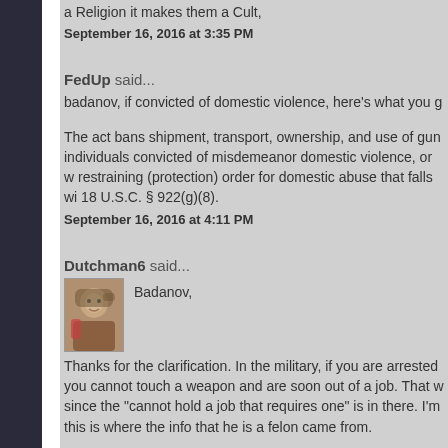a Religion it makes them a Cult,
September 16, 2016 at 3:35 PM
FedUp said...
badanov, if convicted of domestic violence, here's what you g
The act bans shipment, transport, ownership, and use of gun individuals convicted of misdemeanor domestic violence, or w restraining (protection) order for domestic abuse that falls wi 18 U.S.C. § 922(g)(8).
September 16, 2016 at 4:11 PM
Dutchman6 said...
Badanov,
Thanks for the clarification. In the military, if you are arrested you cannot touch a weapon and are soon out of a job. That w since the "cannot hold a job that requires one" is in there. I'm this is where the info that he is a felon came from.
Erik,